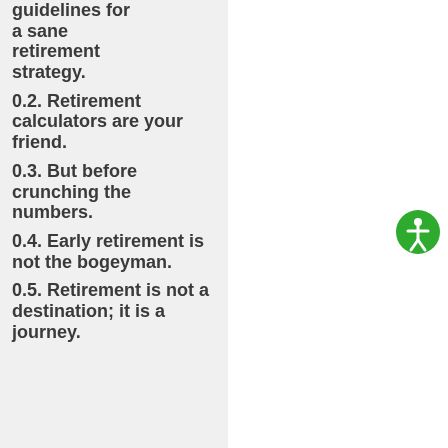guidelines for a sane retirement strategy.
0.2. Retirement calculators are your friend.
0.3. But before crunching the numbers.
0.4. Early retirement is not the bogeyman.
0.5. Retirement is not a destination; it is a journey.
[Figure (illustration): Green circular accessibility icon with a white human figure in the center, positioned on the right side of the page.]